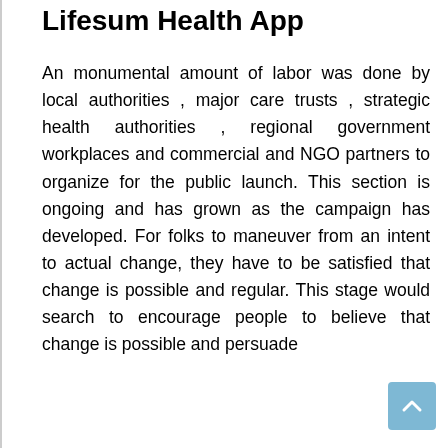Lifesum Health App
An monumental amount of labor was done by local authorities , major care trusts , strategic health authorities , regional government workplaces and commercial and NGO partners to organize for the public launch. This section is ongoing and has grown as the campaign has developed. For folks to maneuver from an intent to actual change, they have to be satisfied that change is possible and regular. This stage would search to encourage people to believe that change is possible and persuade